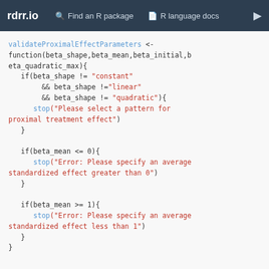rdrr.io   Find an R package   R language docs
validateProximalEffectParameters <- function(beta_shape,beta_mean,beta_initial,beta_quadratic_max){ if(beta_shape != "constant" && beta_shape !="linear" && beta_shape != "quadratic"){ stop("Please select a pattern for proximal treatment effect") } if(beta_mean <= 0){ stop("Error: Please specify an average standardized effect greater than 0") } if(beta_mean >= 1){ stop("Error: Please specify an average standardized effect less than 1") } }